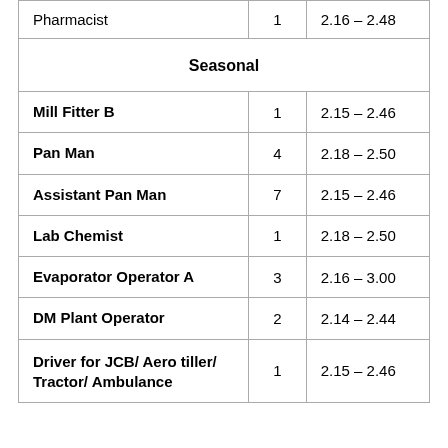|  |  |  |
| --- | --- | --- |
| Pharmacist | 1 | 2.16 – 2.48 |
| Seasonal |  |  |
| Mill Fitter B | 1 | 2.15 – 2.46 |
| Pan Man | 4 | 2.18 – 2.50 |
| Assistant Pan Man | 7 | 2.15 – 2.46 |
| Lab Chemist | 1 | 2.18 – 2.50 |
| Evaporator Operator A | 3 | 2.16 – 3.00 |
| DM Plant Operator | 2 | 2.14 – 2.44 |
| Driver for JCB/ Aero tiller/ Tractor/ Ambulance | 1 | 2.15 – 2.46 |